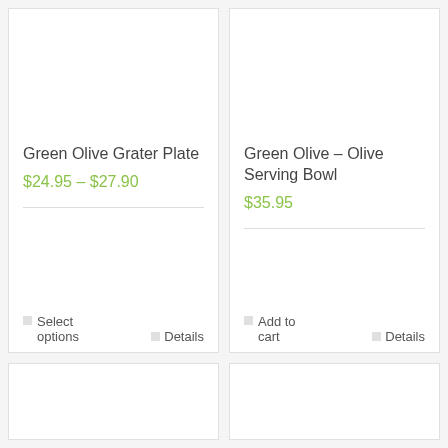Green Olive Grater Plate
$24.95 – $27.90
Select options
Details
Green Olive – Olive Serving Bowl
$35.95
Add to cart
Details